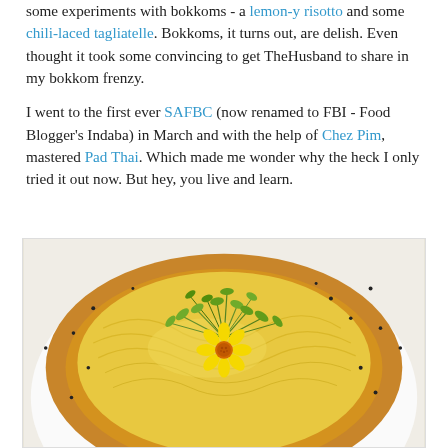some experiments with bokkoms - a lemon-y risotto and some chili-laced tagliatelle. Bokkoms, it turns out, are delish. Even thought it took some convincing to get TheHusband to share in my bokkom frenzy.

I went to the first ever SAFBC (now renamed to FBI - Food Blogger's Indaba) in March and with the help of Chez Pim, mastered Pad Thai. Which made me wonder why the heck I only tried it out now. But hey, you live and learn.
[Figure (photo): A food photograph showing a dish with yellow egg noodles or shredded cheese piled high, topped with fresh green microgreens and sprouts, garnished with a bright yellow daisy-like flower in the center, served on a white plate. Black sesame seeds scattered around.]